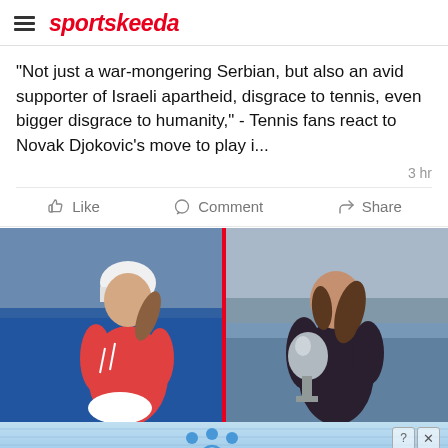sportskeeda
"Not just a war-mongering Serbian, but also an avid supporter of Israeli apartheid, disgrace to tennis, even bigger disgrace to humanity," - Tennis fans react to Novak Djokovic's move to play i...
3 hr
[Figure (screenshot): Social media post action buttons: Like, Comment, Share]
[Figure (photo): Split image of two female tennis players side by side with a red vertical divider. Left: female tennis player in red top and white visor cap. Right: female tennis player holding a trophy, wearing dark top, with sea/ocean background.]
[Figure (infographic): Advertisement banner for 'Hold and Move' app/service with blue background, people icons, info and close buttons, and striped pattern.]